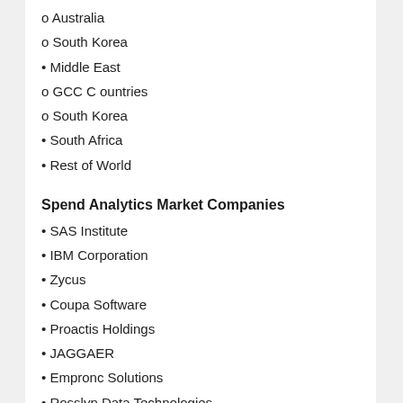o Australia
o South Korea
• Middle East
o GCC Countries
o South Korea
• South Africa
• Rest of World
Spend Analytics Market Companies
• SAS Institute
• IBM Corporation
• Zycus
• Coupa Software
• Proactis Holdings
• JAGGAER
• Empronc Solutions
• Rosslyn Data Technologies
• Oracle Corporation
• SAP SE